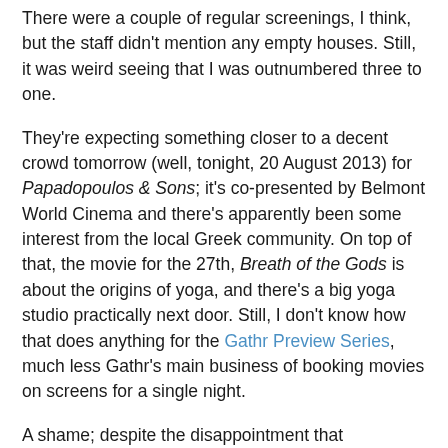There were a couple of regular screenings, I think, but the staff didn't mention any empty houses. Still, it was weird seeing that I was outnumbered three to one.
They're expecting something closer to a decent crowd tomorrow (well, tonight, 20 August 2013) for Papadopoulos & Sons; it's co-presented by Belmont World Cinema and there's apparently been some interest from the local Greek community. On top of that, the movie for the 27th, Breath of the Gods is about the origins of yoga, and there's a big yoga studio practically next door. Still, I don't know how that does anything for the Gathr Preview Series, much less Gathr's main business of booking movies on screens for a single night.
A shame; despite the disappointment that Savannah turned out to be despite a cast that raised my eyebrows with "hey, that's another pretty good actor" throughout the opening credits, $19 for four movies is generally a pretty good deal, and the Regent's a nice theater, even if it is out of the way. Here's hoping there are more folks over the next couple of weeks.